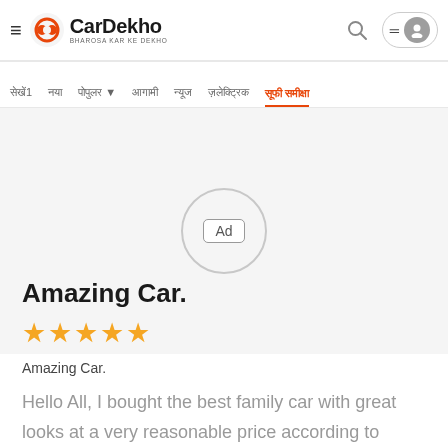CarDekho - BHAROSA KAR KE DEKHO
[Figure (screenshot): CarDekho website navigation bar with Hindi menu items and an Ad placeholder in the content area]
Amazing Car.
[Figure (other): 4 orange star rating]
Amazing Car.
Hello All, I bought the best family car with great looks at a very reasonable price according to